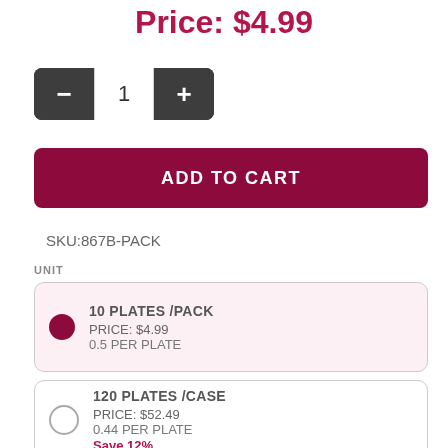Price: $4.99
[Figure (other): Quantity selector with minus button, input showing 1, and plus button]
[Figure (other): ADD TO CART button in dark crimson/maroon color]
SKU:867B-PACK
UNIT
10 PLATES /PACK
PRICE: $4.99
0.5 PER PLATE
120 PLATES /CASE
PRICE: $52.49
0.44 PER PLATE
Save 12%